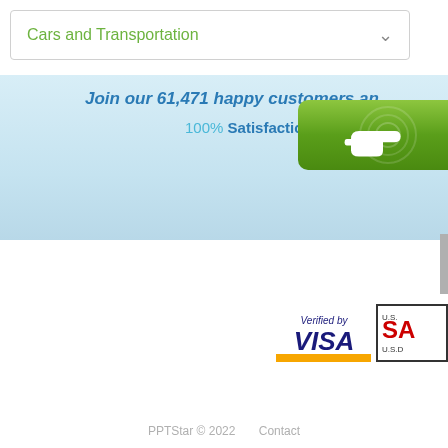Cars and Transportation
[Figure (screenshot): Partial website banner with text: Join our 61,471 happy customers and... 100% Satisfaction G... with a green button featuring a hand/finger icon pointing right]
[Figure (logo): Verified by VISA logo]
[Figure (logo): U.S. SA... U.S.D... partial logo with border]
PPTStar © 2022    Contact